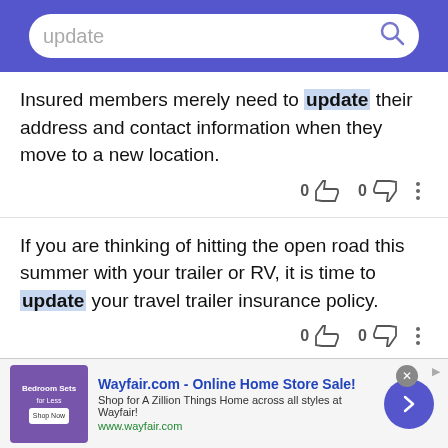[Figure (screenshot): Search bar with text 'update' and purple search icon on blue/purple background]
Insured members merely need to update their address and contact information when they move to a new location.
If you are thinking of hitting the open road this summer with your trailer or RV, it is time to update your travel trailer insurance policy.
As you acquire more items - or get rid of some items - you will want to update your inventory list to accurately reflect your possessions.
[Figure (screenshot): Wayfair.com advertisement banner - Online Home Store Sale]